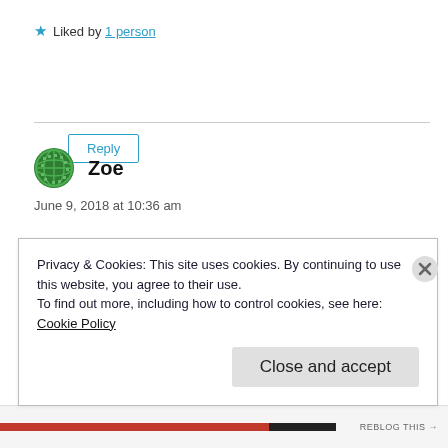★ Liked by 1 person
Reply
Zoe
June 9, 2018 at 10:36 am
Thank you so much for posting this. Our 12-year-old son did the same thing some time
Privacy & Cookies: This site uses cookies. By continuing to use this website, you agree to their use.
To find out more, including how to control cookies, see here:
Cookie Policy
Close and accept